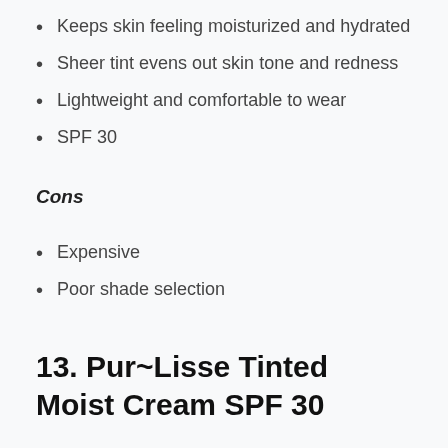Keeps skin feeling moisturized and hydrated
Sheer tint evens out skin tone and redness
Lightweight and comfortable to wear
SPF 30
Cons
Expensive
Poor shade selection
13. Pur~Lisse Tinted Moist Cream SPF 30